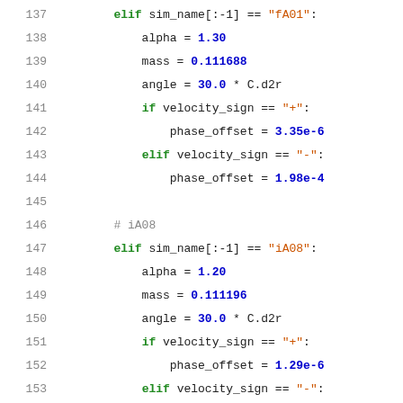[Figure (screenshot): Python source code snippet showing elif branches for simulation names fA01, iA08, iA14, and the start of iA27, with line numbers 137-166. Code sets alpha, mass, angle, and phase_offset values depending on velocity_sign.]